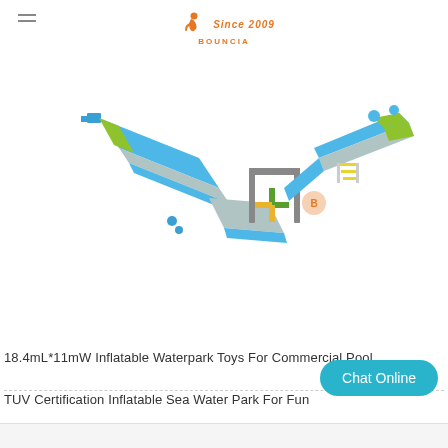Bouncia Since 2009
[Figure (illustration): 3D render of an inflatable waterpark obstacle course with blue, gray, and yellow-green elements arranged in a V-shape, including platforms, barriers, and a frame obstacle.]
18.4mL*11mW Inflatable Waterpark Toys For Commercial Pool
TUV Certification Inflatable Sea Water Park For Fun
Chat Online